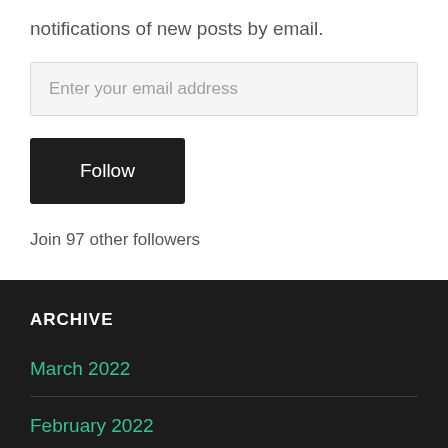notifications of new posts by email.
Enter your email address
Follow
Join 97 other followers
ARCHIVE
March 2022
February 2022